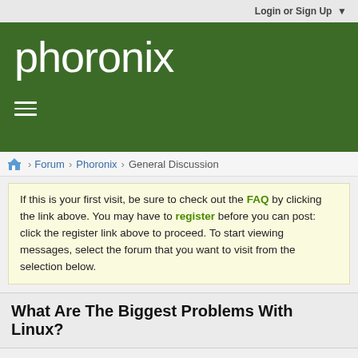Login or Sign Up ▼
phoronix
≡ (hamburger menu)
Forum › Phoronix › General Discussion
If this is your first visit, be sure to check out the FAQ by clicking the link above. You may have to register before you can post: click the register link above to proceed. To start viewing messages, select the forum that you want to visit from the selection below.
What Are The Biggest Problems With Linux?
+ More Options ∨